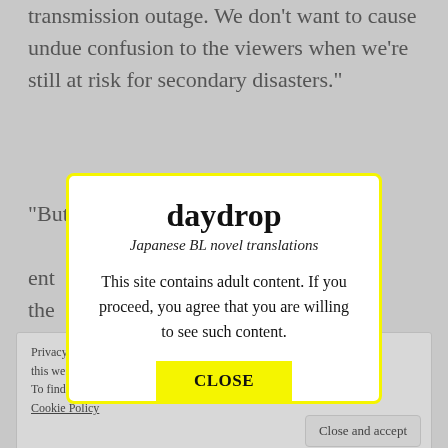transmission outage. We don’t want to cause undue confusion to the viewers when we’re still at risk for secondary disasters.”
“But … ent the o … ieve that a … at it woul… sudd… t. In my o…
[Figure (screenshot): A modal dialog popup with yellow border on a grayed-out webpage background. The modal contains the title 'daydrop', subtitle 'Japanese BL novel translations', body text 'This site contains adult content. If you proceed, you agree that you are willing to see such content.', and a yellow CLOSE button at the bottom.]
Privacy … o use this we… To find out more, includir… trol cookies, see here: Cookie Policy
Close and accept